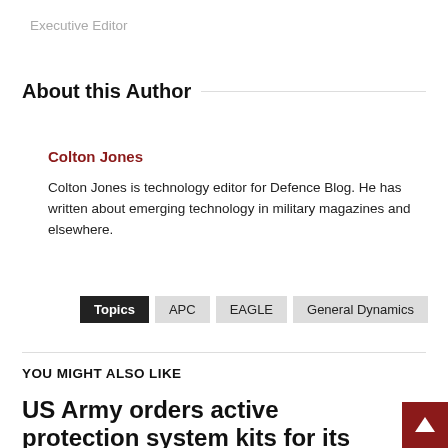Executive Editor
About this Author
Colton Jones
Colton Jones is technology editor for Defence Blog. He has written about emerging technology in military magazines and elsewhere.
Topics  APC  EAGLE  General Dynamics
YOU MIGHT ALSO LIKE
US Army orders active protection system kits for its Abrams tanks